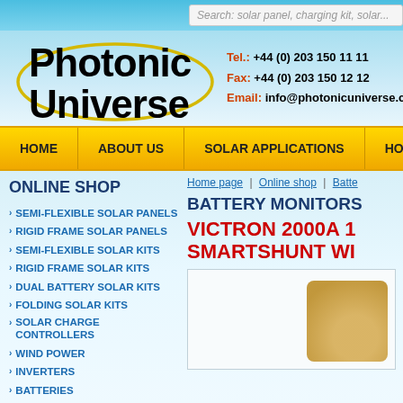Search: solar panel, charging kit, solar...
[Figure (logo): Photonic Universe logo with ellipse oval around text]
Tel.: +44 (0) 203 150 11 11
Fax: +44 (0) 203 150 12 12
Email: info@photonicuniverse.com
HOME | ABOUT US | SOLAR APPLICATIONS | HOW
ONLINE SHOP
Home page | Online shop | Batte...
BATTERY MONITORS
VICTRON 2000A 1 SMARTSHUNT WI
SEMI-FLEXIBLE SOLAR PANELS
RIGID FRAME SOLAR PANELS
SEMI-FLEXIBLE SOLAR KITS
RIGID FRAME SOLAR KITS
DUAL BATTERY SOLAR KITS
FOLDING SOLAR KITS
SOLAR CHARGE CONTROLLERS
WIND POWER
INVERTERS
BATTERIES
BATTERY CHARGERS &
[Figure (photo): Product image placeholder for Victron SmartShunt device]